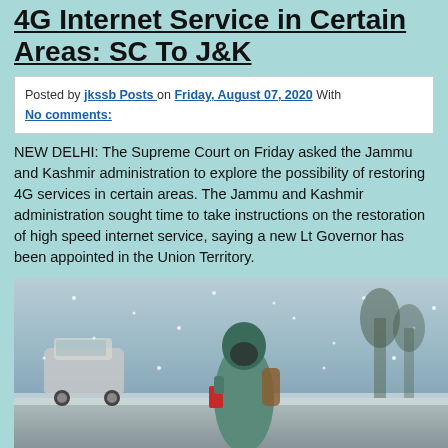4G Internet Service in Certain Areas: SC To J&K
Posted by jkssb Posts on Friday, August 07, 2020 With No comments:
NEW DELHI: The Supreme Court on Friday asked the Jammu and Kashmir administration to explore the possibility of restoring 4G services in certain areas. The Jammu and Kashmir administration sought time to take instructions on the restoration of high speed internet service, saying a new Lt Governor has been appointed in the Union Territory.
[Figure (photo): A person in winter clothing walking in a snowy street, holding a phone, with cars and snow-covered surroundings in the background.]